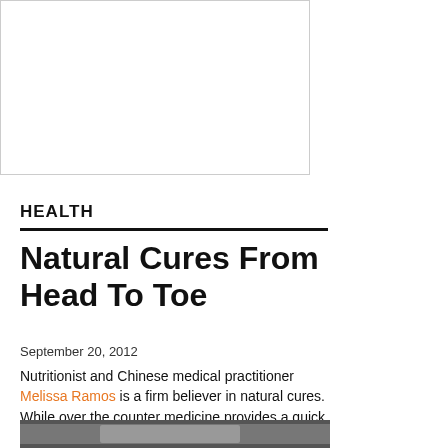[Figure (other): Advertisement placeholder box, white with light gray border]
HEALTH
Natural Cures From Head To Toe
September 20, 2012
Nutritionist and Chinese medical practitioner Melissa Ramos is a firm believer in natural cures. While over the counter medicine provides a quick relief, Melissa says natural is the way to go!
[Figure (photo): Partial photo at bottom of page, appears to show a glass or jar]